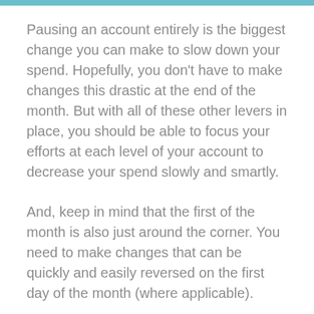Pausing an account entirely is the biggest change you can make to slow down your spend. Hopefully, you don't have to make changes this drastic at the end of the month. But with all of these other levers in place, you should be able to focus your efforts at each level of your account to decrease your spend slowly and smartly.
And, keep in mind that the first of the month is also just around the corner. You need to make changes that can be quickly and easily reversed on the first day of the month (where applicable).